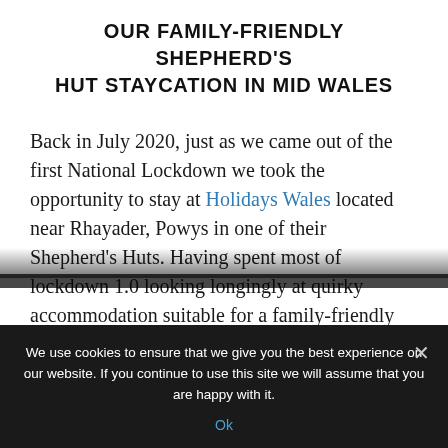OUR FAMILY-FRIENDLY SHEPHERD'S HUT STAYCATION IN MID WALES
Back in July 2020, just as we came out of the first National Lockdown we took the opportunity to stay at Holidays Wales located near Rhayader, Powys in one of their Shepherd's Huts. Having spent most of lockdown 1.0 looking longingly at quirky accommodation suitable for a family-friendly short break when
We use cookies to ensure that we give you the best experience on our website. If you continue to use this site we will assume that you are happy with it.
Ok